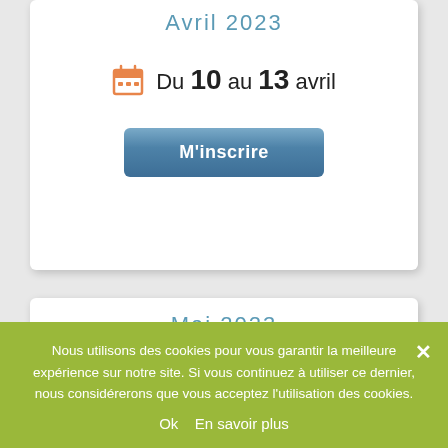Avril 2023
Du 10 au 13 avril
M'inscrire
Mai 2023
Du 22 au 25 mai
M'inscrire
Nous utilisons des cookies pour vous garantir la meilleure expérience sur notre site. Si vous continuez à utiliser ce dernier, nous considérerons que vous acceptez l'utilisation des cookies.
Ok  En savoir plus